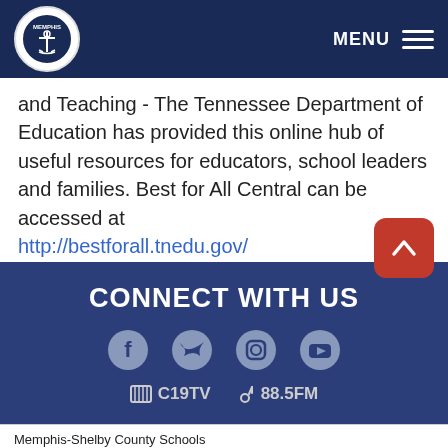MENU
and Teaching - The Tennessee Department of Education has provided this online hub of useful resources for educators, school leaders and families. Best for All Central can be accessed at http://bestforall.tnedu.gov/
CONNECT WITH US
C19TV  88.5FM
Memphis-Shelby County Schools
160 S. Hollywood St.